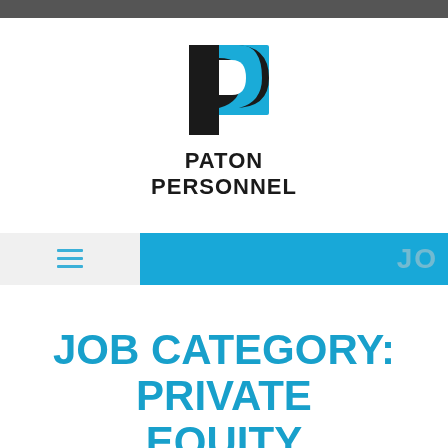[Figure (logo): Paton Personnel logo: a stylized 'P' shape in black with a blue swoosh, above the text PATON PERSONNEL in bold black]
JOB CATEGORY: PRIVATE EQUITY
PRIVATE EQUITY ASSOCIATE